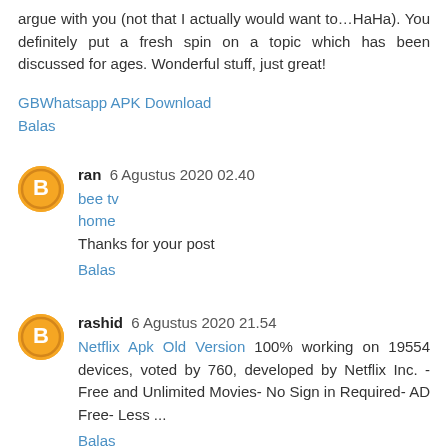argue with you (not that I actually would want to…HaHa). You definitely put a fresh spin on a topic which has been discussed for ages. Wonderful stuff, just great!
GBWhatsapp APK Download
Balas
ran  6 Agustus 2020 02.40
bee tv
home
Thanks for your post
Balas
rashid  6 Agustus 2020 21.54
Netflix Apk Old Version 100% working on 19554 devices, voted by 760, developed by Netflix Inc. - Free and Unlimited Movies- No Sign in Required- AD Free- Less ...
Balas